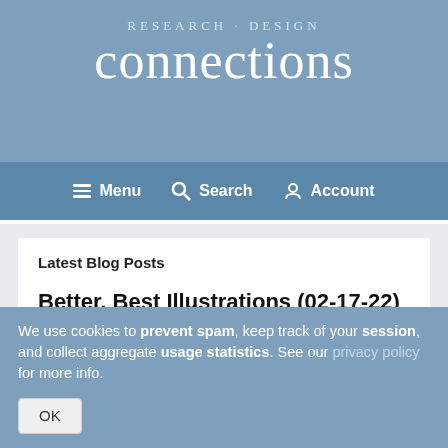RESEARCH · DESIGN connections
Menu  Search  Account
Latest Blog Posts
Better, Best Illustrations (02-17-22)
Lin investigated how illustrations are evaluated.  Findings from the
We use cookies to prevent spam, keep track of your session, and collect aggregate usage statistics. See our privacy policy for more info.
OK